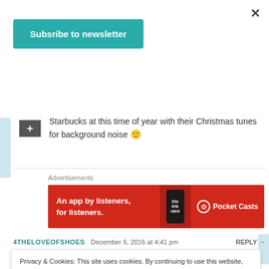×
Subsribe to newsletter
Starbucks at this time of year with their Christmas tunes for background noise 🙂
Advertisements
[Figure (other): Pocket Casts advertisement banner: red background, text 'An app by listeners, for listeners.' with phone showing 'Distrib' text and Pocket Casts logo]
4THELOVEOFSHOES   December 6, 2016 at 4:41 pm   REPLY →
Privacy & Cookies: This site uses cookies. By continuing to use this website, you agree to their use. To find out more, including how to control cookies, see here: Cookie Policy
Close and accept